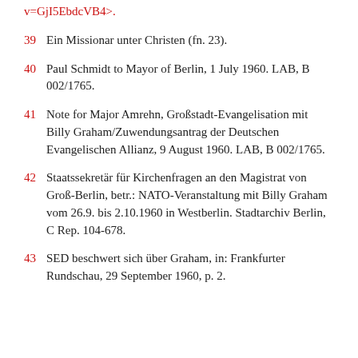v=GjI5EbdcVB4>.
39 Ein Missionar unter Christen (fn. 23).
40 Paul Schmidt to Mayor of Berlin, 1 July 1960. LAB, B 002/1765.
41 Note for Major Amrehn, Großstadt-Evangelisation mit Billy Graham/Zuwendungsantrag der Deutschen Evangelischen Allianz, 9 August 1960. LAB, B 002/1765.
42 Staatssekretär für Kirchenfragen an den Magistrat von Groß-Berlin, betr.: NATO-Veranstaltung mit Billy Graham vom 26.9. bis 2.10.1960 in Westberlin. Stadtarchiv Berlin, C Rep. 104-678.
43 SED beschwert sich über Graham, in: Frankfurter Rundschau, 29 September 1960, p. 2.